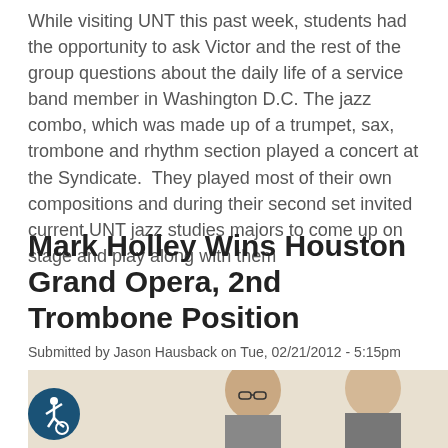While visiting UNT this past week, students had the opportunity to ask Victor and the rest of the group questions about the daily life of a service band member in Washington D.C. The jazz combo, which was made up of a trumpet, sax, trombone and rhythm section played a concert at the Syndicate.  They played most of their own compositions and during their second set invited current UNT jazz studies majors to come up on stage and play along with them
Mark Holley Wins Houston Grand Opera, 2nd Trombone Position
Submitted by Jason Hausback on Tue, 02/21/2012 - 5:15pm
[Figure (photo): Photo of two people standing side by side, one with glasses, in an indoor setting. An accessibility (wheelchair) icon button overlays the bottom-left corner of the photo.]